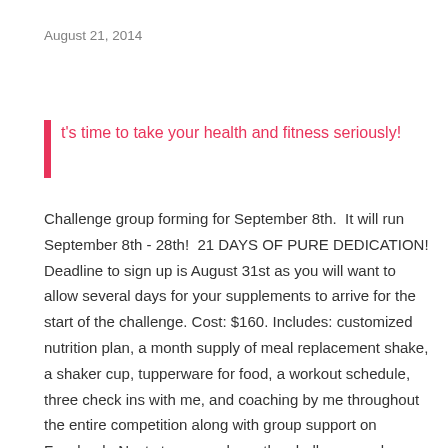August 21, 2014
t's time to take your health and fitness seriously!
Challenge group forming for September 8th.  It will run September 8th - 28th!  21 DAYS OF PURE DEDICATION! Deadline to sign up is August 31st as you will want to allow several days for your supplements to arrive for the start of the challenge. Cost: $160. Includes: customized nutrition plan, a month supply of meal replacement shake, a shaker cup, tupperware for food, a workout schedule, three check ins with me, and coaching by me throughout the entire competition along with group support on Facebook. Next steps: purchase the challenge package with these simple steps: